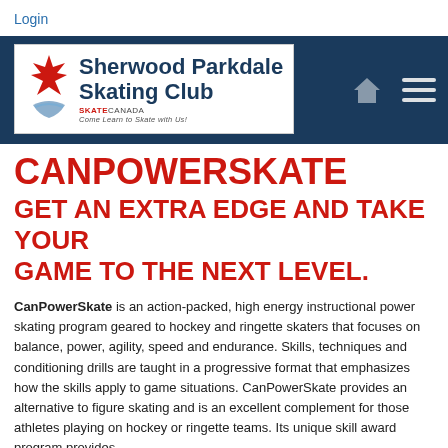Login
[Figure (logo): Sherwood Parkdale Skating Club logo with Skate Canada maple leaf emblem, navy blue background navigation banner with home icon and hamburger menu]
CANPOWERSKATE
GET AN EXTRA EDGE AND TAKE YOUR GAME TO THE NEXT LEVEL.
CanPowerSkate is an action-packed, high energy instructional power skating program geared to hockey and ringette skaters that focuses on balance, power, agility, speed and endurance. Skills, techniques and conditioning drills are taught in a progressive format that emphasizes how the skills apply to game situations. CanPowerSkate provides an alternative to figure skating and is an excellent complement for those athletes playing on hockey or ringette teams. Its unique skill award program provides